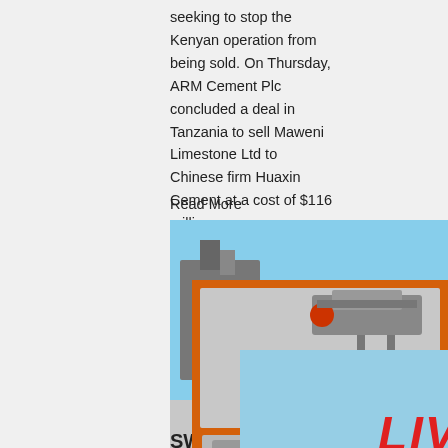seeking to stop the Kenyan operation from being sold. On Thursday, ARM Cement Plc concluded a deal in Tanzania to sell Maweni Limestone Ltd to Chinese firm Huaxin Cement at a cost of $116 million.
Read More
[Figure (photo): Construction workers wearing yellow hard hats at a cement/mining facility]
SWO... Cement Limited ...
Jan 12, 2021  Athi River Mining official co... 9TH Floor, The Westwood, Ring Road, Westla... Kenya Office +254 733 636 456. • Tanzania C... 222 150 672. • Rwanda Office +250 788 383 6... info@armcement ARM Cement PLC. Commo... company tags: Rhino Cement, Rhino Wallmaster. SWOT analysis of Athi River Cement Limited. The
[Figure (screenshot): Live Chat popup overlay with 'LIVE CHAT - Click for a Free Consultation' and Chat now / Chat later buttons]
[Figure (infographic): Orange advertisement panel with mining/crushing machinery images, 'Enjoy 3% discount', 'Click to Chat', 'Enquiry', and contact email limingjlmofen@sina.com]